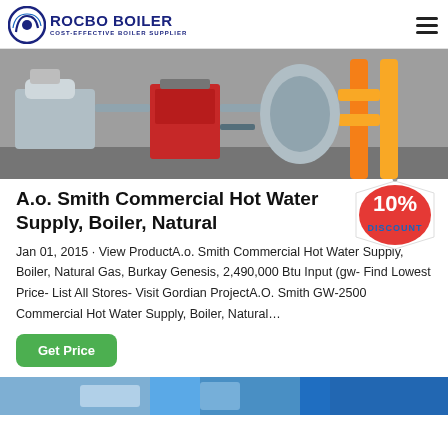ROCBO BOILER - COST-EFFECTIVE BOILER SUPPLIER
[Figure (photo): Industrial boiler room with multiple boilers including a red burner unit and yellow gas pipes]
A.o. Smith Commercial Hot Water Supply, Boiler, Natural
Jan 01, 2015 · View ProductA.o. Smith Commercial Hot Water Supply, Boiler, Natural Gas, Burkay Genesis, 2,490,000 Btu Input (gw- Find Lowest Price- List All Stores- Visit Gordian ProjectA.O. Smith GW-2500 Commercial Hot Water Supply, Boiler, Natural...
[Figure (illustration): 10% DISCOUNT badge/tag overlay]
[Figure (photo): Bottom partial image of boiler equipment in blue tones]